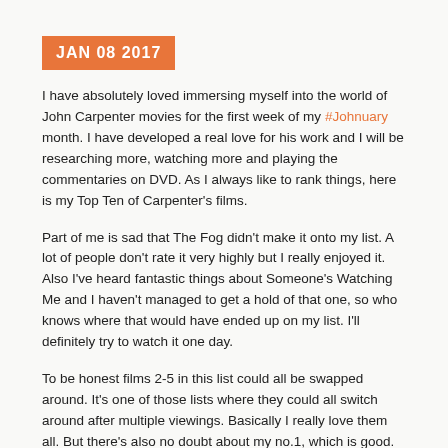JAN 08 2017
I have absolutely loved immersing myself into the world of John Carpenter movies for the first week of my #Johnuary month. I have developed a real love for his work and I will be researching more, watching more and playing the commentaries on DVD. As I always like to rank things, here is my Top Ten of Carpenter's films.
Part of me is sad that The Fog didn't make it onto my list. A lot of people don't rate it very highly but I really enjoyed it. Also I've heard fantastic things about Someone's Watching Me and I haven't managed to get a hold of that one, so who knows where that would have ended up on my list. I'll definitely try to watch it one day.
To be honest films 2-5 in this list could all be swapped around. It's one of those lists where they could all switch around after multiple viewings. Basically I really love them all. But there's also no doubt about my no.1, which is good.
10. Halloween
[Figure (photo): Outdoor scene with trees and foliage, appears to be a still from the Halloween film]